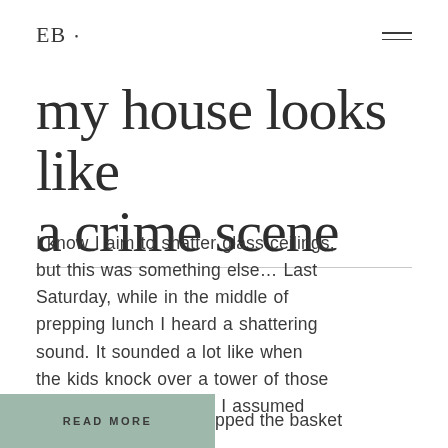EB •
my house looks like a crime scene
I know I aim to shatter glass ceilings, but this was something else… Last Saturday, while in the middle of prepping lunch I heard a shattering sound. It sounded a lot like when the kids knock over a tower of those plastic magna tiles, so I assumed …pped the basket
READ MORE